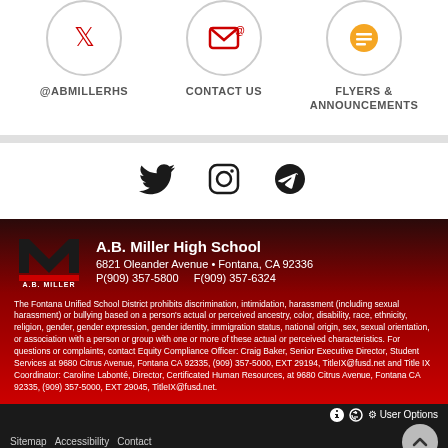[Figure (logo): Twitter icon in red circle]
[Figure (logo): Email/contact icon in red circle]
[Figure (logo): Flyers/announcements icon in orange circle]
@ABMILLERHS
CONTACT US
FLYERS & ANNOUNCEMENTS
[Figure (logo): Twitter bird icon (black)]
[Figure (logo): Instagram icon (black)]
[Figure (logo): Vimeo V icon (black)]
[Figure (logo): A.B. Miller school M logo in black and red]
A.B. Miller High School
6821 Oleander Avenue  •  Fontana, CA 92336
P(909) 357-5800       F(909) 357-6324
The Fontana Unified School District prohibits discrimination, intimidation, harassment (including sexual harassment) or bullying based on a person's actual or perceived ancestry, color, disability, race, ethnicity, religion, gender, gender expression, gender identity, immigration status, national origin, sex, sexual orientation, or association with a person or group with one or more of these actual or perceived characteristics. For questions or complaints, contact Equity Compliance Officer: Craig Baker, Senior Executive Director, Student Services at 9680 Citrus Avenue, Fontana CA 92335, (909) 357-5000, EXT 29194, TitleIX@fusd.net and Title IX Coordinator: Caroline Labonté, Director, Certificated Human Resources, at 9680 Citrus Avenue, Fontana CA 92335, (909) 357-5000, EXT 29045, TitleIX@fusd.net.
⚙ User Options
Sitemap  Accessibility  Contact